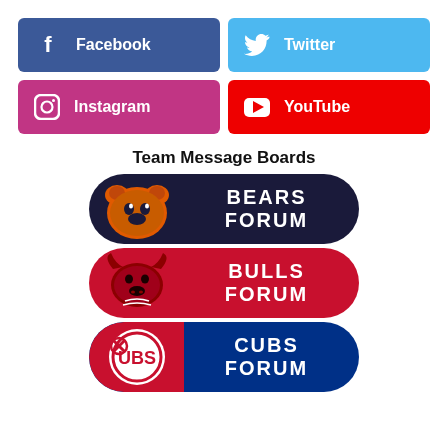[Figure (infographic): Social media buttons: Facebook (blue), Twitter (light blue), Instagram (pink/purple), YouTube (red)]
Team Message Boards
[Figure (infographic): Bears Forum banner with Chicago Bears logo on dark navy background]
[Figure (infographic): Bulls Forum banner with Chicago Bulls logo on red background]
[Figure (infographic): Cubs Forum banner with UBS/Cubs logo on blue/red background]